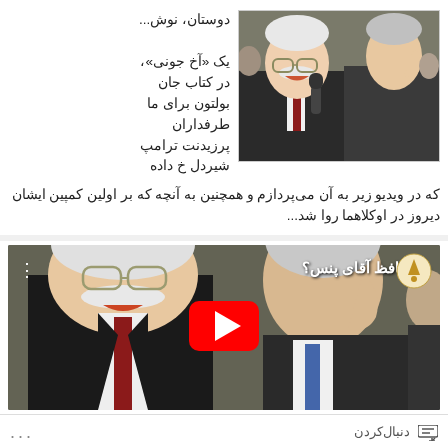[Figure (photo): Two men in suits facing each other conversing — one with white hair and mustache wearing glasses, the other with short grey hair — photo background of a crowd.]
دوستان، نوش...
یک «آخ جونی»،
در کتاب جان بولتون برای ما طرفداران پرزیدنت ترامپ شیردل خ داده که در ویدیو زیر به آن می‌پردازم و همچنین به آنچه که بر اولین کمپین ایشان دیروز در اوکلاهما روا شد...
[Figure (screenshot): YouTube video thumbnail showing two men facing each other, with Persian text 'خداحافظ آقای پنس؟' and a YouTube play button overlay.]
دنبال‌کردن
...